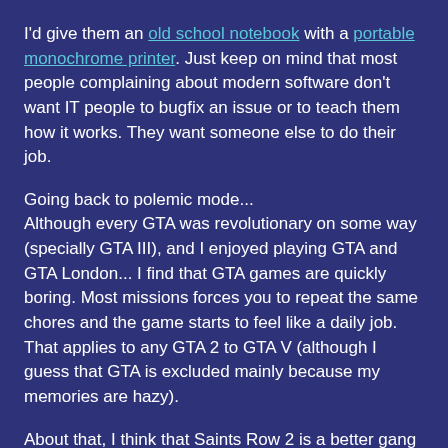I'd give them an old school notebook with a portable monochrome printer. Just keep on mind that most people complaining about modern software don't want IT people to bugfix an issue or to teach them how it works. They want someone else to do their job.
Going back to polemic mode... Although every GTA was revolutionary on some way (specially GTA III), and I enjoyed playing GTA and GTA London... I find that GTA games are quickly boring. Most missions forces you to repeat the same chores and the game starts to feel like a daily job. That applies to any GTA 2 to GTA V (although I guess that GTA is excluded mainly because my memories are hazy).
About that, I think that Saints Row 2 is a better gang game that any GTA, and Saints Row: The Third is a better GTA than any GTA.